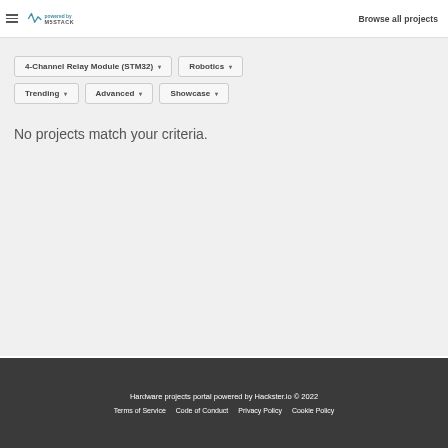M5STACK | Browse all projects
4-Channel Relay Module (STM32) ▾
Robotics ▾
Trending ▾
Advanced ▾
Showcase ▾
No projects match your criteria.
Hardware projects portal powered by Hackster.io © 2022
Terms of Service   Code of Conduct   Privacy Policy   Cookie Policy